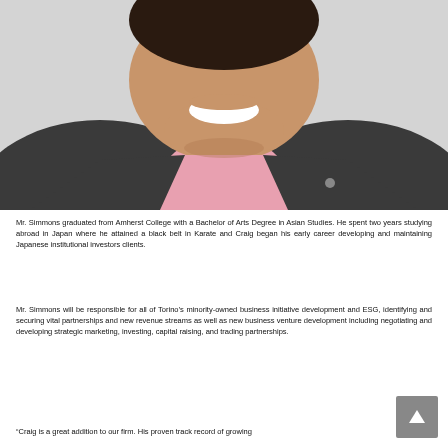[Figure (photo): Professional headshot of Mr. Simmons, a man in a grey suit with a pink shirt and grey/purple patterned tie, smiling at the camera]
Mr. Simmons graduated from Amherst College with a Bachelor of Arts Degree in Asian Studies. He spent two years studying abroad in Japan where he attained a black belt in Karate and Craig began his early career developing and maintaining Japanese institutional investors clients.
Mr. Simmons will be responsible for all of Torino's minority-owned business initiative development and ESG, identifying and securing vital partnerships and new revenue streams as well as new business venture development including negotiating and developing strategic marketing, investing, capital raising, and trading partnerships.
“Craig is a great addition to our firm. His proven track record of growing